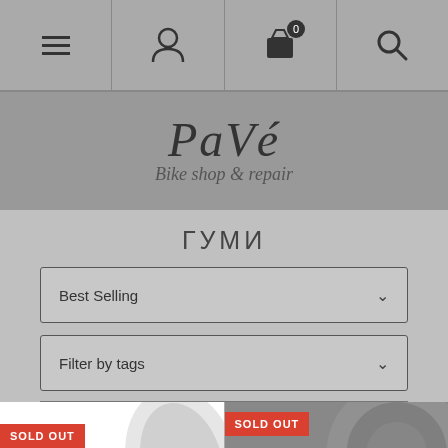Navigation bar with menu, user, cart (0), and search icons
[Figure (logo): PaVé Bike shop & repair logo in handwritten/script style]
ГУМИ
Best Selling (dropdown)
Filter by tags (dropdown)
[Figure (photo): Product tile with SOLD OUT badge, bicycle tire image on white background]
[Figure (photo): Product tile with SOLD OUT badge, bicycle tire image on dark background]